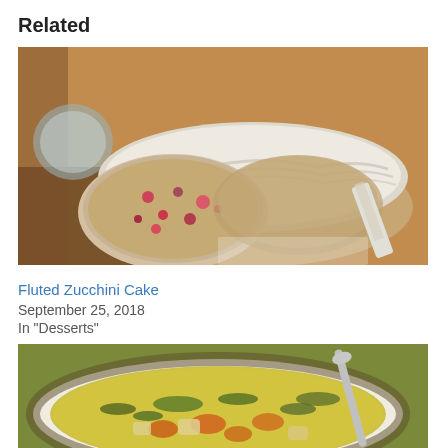Related
[Figure (photo): Sliced zucchini bread/cake with red berries, dusted with powdered sugar, on a wooden board with a knife]
Fluted Zucchini Cake
September 25, 2018
In "Desserts"
[Figure (photo): Bowl of soup with vegetables including carrots and potatoes in a yellow-green broth, with a spoon, on a decorated plate]